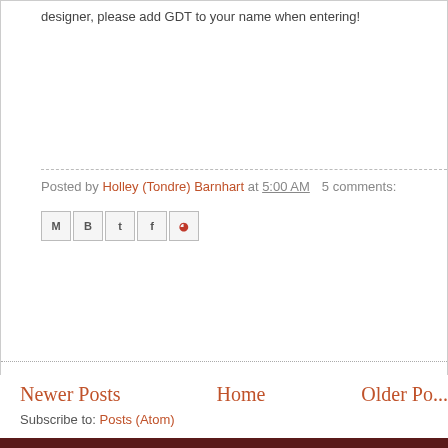designer, please add GDT to your name when entering!
Posted by Holley (Tondre) Barnhart at 5:00 AM    5 comments:
[Figure (other): Social share icons: Email, Blogger, Twitter, Facebook, Pinterest]
Newer Posts
Home
Older Po...
Subscribe to: Posts (Atom)
To
30
Watermark theme. Power...